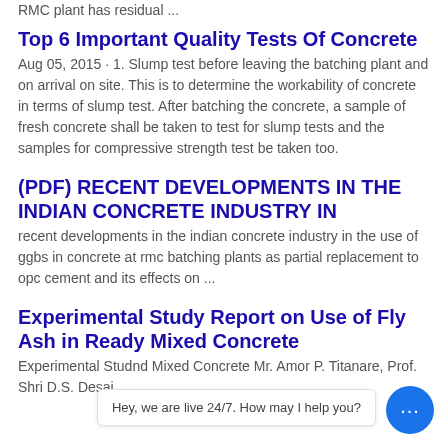RMC plant has residual ...
Top 6 Important Quality Tests Of Concrete
Aug 05, 2015 · 1. Slump test before leaving the batching plant and on arrival on site. This is to determine the workability of concrete in terms of slump test. After batching the concrete, a sample of fresh concrete shall be taken to test for slump tests and the samples for compressive strength test be taken too.
(PDF) RECENT DEVELOPMENTS IN THE INDIAN CONCRETE INDUSTRY IN
recent developments in the indian concrete industry in the use of ggbs in concrete at rmc batching plants as partial replacement to opc cement and its effects on ...
Experimental Study Report on Use of Fly Ash in Ready Mixed Concrete
Experimental Stud... nd Mixed Concrete Mr. Amor P. Titanare, Prof. Shri D.S. Desai...